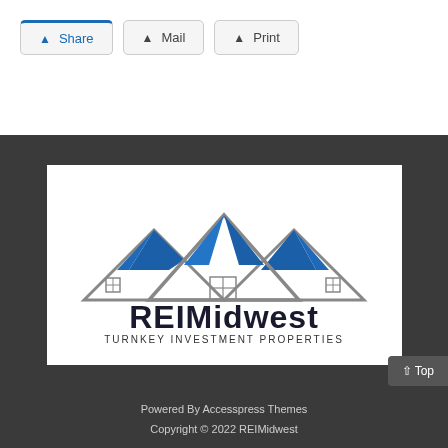[Figure (other): Three action buttons: Share (with blue top border), Mail, and Print, each with a small icon and label, displayed as rounded-corner button boxes]
[Figure (logo): REIMidwest Turnkey Investment Properties logo: three house rooftops with blue triangular accents, gray outlines, windows, and bold text 'REIMidwest' with smaller 'TURNKEY INVESTMENT PROPERTIES' below]
Powered By Accesspress Themes
Copyright © 2022 REIMidwest